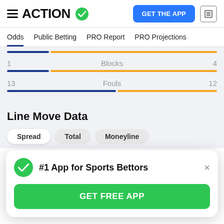ACTION (with checkmark logo) | GET THE APP button
Odds | Public Betting | PRO Report | PRO Projections
1  Blocks  4
13  Fouls  12
Line Move Data
Spread  Total  Moneyline
#1 App for Sports Bettors
GET FREE APP